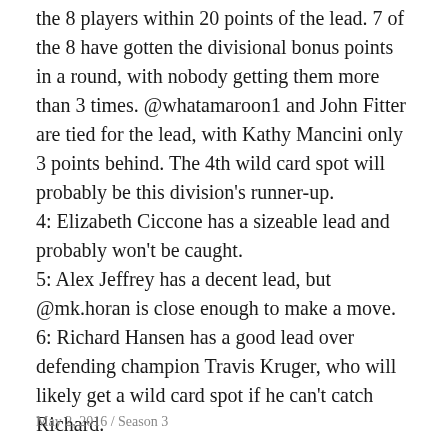the 8 players within 20 points of the lead. 7 of the 8 have gotten the divisional bonus points in a round, with nobody getting them more than 3 times. @whatamaroon1 and John Fitter are tied for the lead, with Kathy Mancini only 3 points behind. The 4th wild card spot will probably be this division's runner-up. 4: Elizabeth Ciccone has a sizeable lead and probably won't be caught. 5: Alex Jeffrey has a decent lead, but @mk.horan is close enough to make a move. 6: Richard Hansen has a good lead over defending champion Travis Kruger, who will likely get a wild card spot if he can't catch Richard.
May 2, 2016 / Season 3